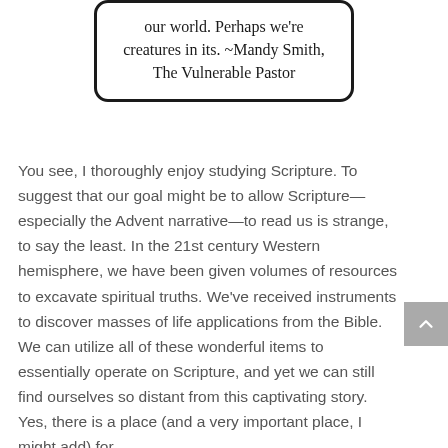our world. Perhaps we're creatures in its. ~Mandy Smith, The Vulnerable Pastor
You see, I thoroughly enjoy studying Scripture. To suggest that our goal might be to allow Scripture—especially the Advent narrative—to read us is strange, to say the least. In the 21st century Western hemisphere, we have been given volumes of resources to excavate spiritual truths. We've received instruments to discover masses of life applications from the Bible. We can utilize all of these wonderful items to essentially operate on Scripture, and yet we can still find ourselves so distant from this captivating story. Yes, there is a place (and a very important place, I might add) for